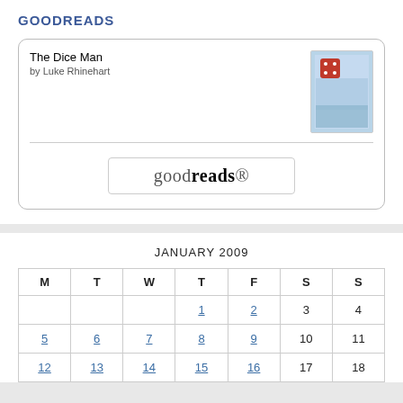GOODREADS
[Figure (screenshot): Goodreads widget showing book 'The Dice Man by Luke Rhinehart' with book cover image and goodreads logo button]
| M | T | W | T | F | S | S |
| --- | --- | --- | --- | --- | --- | --- |
|  |  |  | 1 | 2 | 3 | 4 |
| 5 | 6 | 7 | 8 | 9 | 10 | 11 |
| 12 | 13 | 14 | 15 | 16 | 17 | 18 |